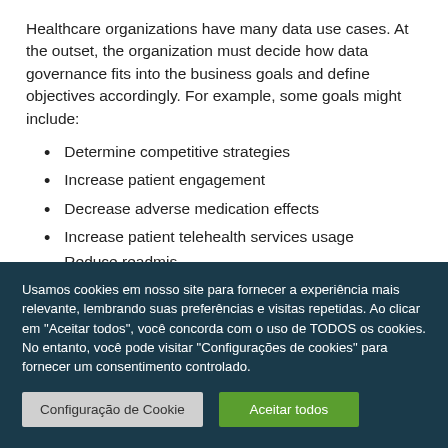Healthcare organizations have many data use cases. At the outset, the organization must decide how data governance fits into the business goals and define objectives accordingly. For example, some goals might include:
Determine competitive strategies
Increase patient engagement
Decrease adverse medication effects
Increase patient telehealth services usage
Usamos cookies em nosso site para fornecer a experiência mais relevante, lembrando suas preferências e visitas repetidas. Ao clicar em "Aceitar todos", você concorda com o uso de TODOS os cookies. No entanto, você pode visitar "Configurações de cookies" para fornecer um consentimento controlado.